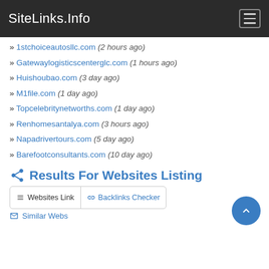SiteLinks.Info
» 1stchoiceautosllc.com (2 hours ago)
» Gatewaylogisticscenterglc.com (1 hours ago)
» Huishoubao.com (3 day ago)
» M1file.com (1 day ago)
» Topcelebritynetworths.com (1 day ago)
» Renhomesantalya.com (3 hours ago)
» Napadrivertours.com (5 day ago)
» Barefootconsultants.com (10 day ago)
Results For Websites Listing
Websites Link  Backlinks Checker
Similar Webs